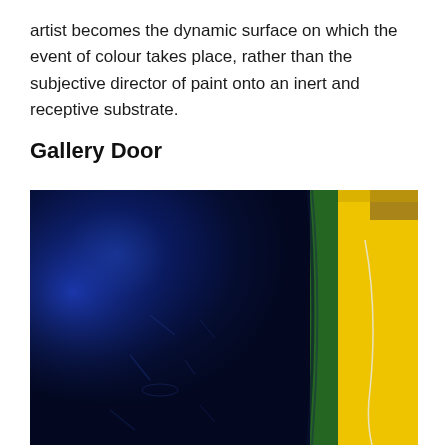artist becomes the dynamic surface on which the event of colour takes place, rather than the subjective director of paint onto an inert and receptive substrate.
Gallery Door
[Figure (photo): Close-up photograph of a gallery door showing a large dark navy/blue painted surface with subtle paint texture and reflections, alongside a bright yellow panel on the right and a green vertical stripe separating them. A thin curved white wire or cord is visible on the right side.]